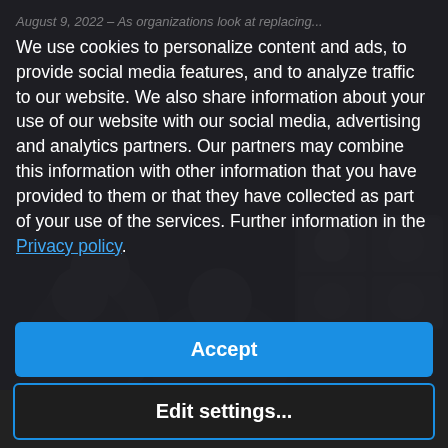[Figure (photo): Dark background photo showing people in a video call/meeting setting, partially obscured by cookie consent overlay]
August 9, 2022 – As organizations look at replacing...
We use cookies to personalize content and ads, to provide social media features, and to analyze traffic to our website. We also share information about your use of our website with our social media, advertising and analytics partners. Our partners may combine this information with other information that you have provided to them or that they have collected as part of your use of the services. Further information in the Privacy policy.
Accept
Edit settings...